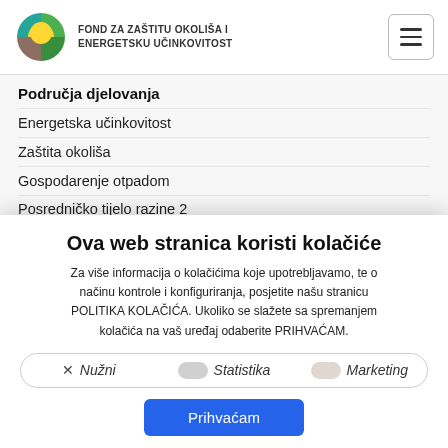[Figure (logo): Fond za zaštitu okoliša i energetsku učinkovitost logo — circular globe with green, yellow, and brown segments]
FOND ZA ZAŠTITU OKOLIŠA I ENERGETSKU UČINKOVITOST
Područja djelovanja
Energetska učinkovitost
Zaštita okoliša
Gospodarenje otpadom
Posredničko tijelo razine 2
Ova web stranica koristi kolačiće
Za više informacija o kolačićima koje upotrebljavamo, te o načinu kontrole i konfiguriranja, posjetite našu stranicu POLITIKA KOLAČIĆA. Ukoliko se slažete sa spremanjem kolačića na vaš uređaj odaberite PRIHVAĆAM.
× Nužni   Statistika   Marketing
Prihvaćam